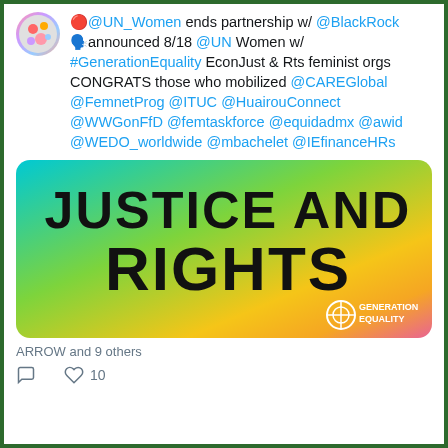🔴@UN_Women ends partnership w/ @BlackRock 🗣️announced 8/18 @UN Women w/ #GenerationEquality EconJust & Rts feminist orgs CONGRATS those who mobilized @CAREGlobal @FemnetProg @ITUC @HuairouConnect @WWGonFfD @femtaskforce @equidadmx @awid @WEDO_worldwide @mbachelet @IEfinanceHRs
[Figure (photo): Colorful gradient image (cyan/teal to yellow/orange to pink) with bold black text reading JUSTICE AND RIGHTS, and Generation Equality logo at bottom right]
ARROW and 9 others
💬 comment icon  ❤️ 10